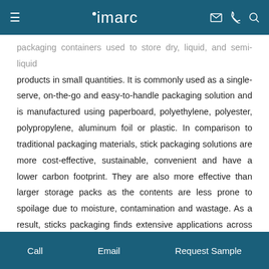imarc (navigation bar with hamburger menu, logo, email, phone, search icons)
packaging containers used to store dry, liquid, and semi-liquid products in small quantities. It is commonly used as a single-serve, on-the-go and easy-to-handle packaging solution and is manufactured using paperboard, polyethylene, polyester, polypropylene, aluminum foil or plastic. In comparison to traditional packaging materials, stick packaging solutions are more cost-effective, sustainable, convenient and have a lower carbon footprint. They are also more effective than larger storage packs as the contents are less prone to spoilage due to moisture, contamination and wastage. As a result, sticks packaging finds extensive applications across various industries, including pharmaceutical, nutraceutical, food and beverage, and
Call   Email   Request Sample